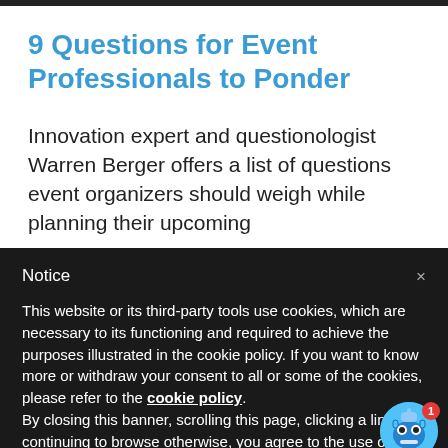[Figure (other): Dark image bar at top of page]
9 Questions for Event Professionals to Ponder
Innovation expert and questionologist Warren Berger offers a list of questions event organizers should weigh while planning their upcoming
Notice
This website or its third-party tools use cookies, which are necessary to its functioning and required to achieve the purposes illustrated in the cookie policy. If you want to know more or withdraw your consent to all or some of the cookies, please refer to the cookie policy.
By closing this banner, scrolling this page, clicking a link or continuing to browse otherwise, you agree to the use of co